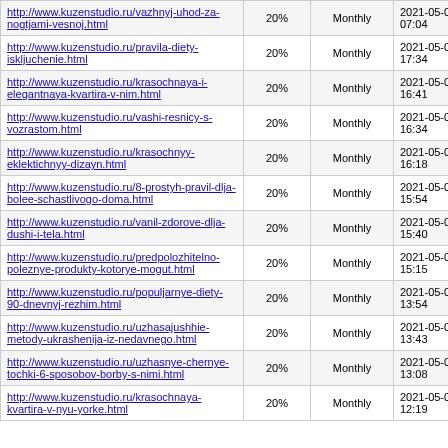| URL | Priority | Change Frequency | Last Modified |
| --- | --- | --- | --- |
| http://www.kuzenstudio.ru/vazhnyj-uhod-za-nogtjami-vesnoj.html | 20% | Monthly | 2021-05-06 07:04 |
| http://www.kuzenstudio.ru/pravila-diety-iskljuchenie.html | 20% | Monthly | 2021-05-05 17:34 |
| http://www.kuzenstudio.ru/krasochnaya-i-elegantnaya-kvartira-v-nim.html | 20% | Monthly | 2021-05-05 16:41 |
| http://www.kuzenstudio.ru/vashi-resnicy-s-vozrastom.html | 20% | Monthly | 2021-05-05 16:34 |
| http://www.kuzenstudio.ru/krasochnyy-eklektichnyy-dizayn.html | 20% | Monthly | 2021-05-05 16:18 |
| http://www.kuzenstudio.ru/8-prostyh-pravil-dlja-bolee-schastlivogo-doma.html | 20% | Monthly | 2021-05-05 15:54 |
| http://www.kuzenstudio.ru/vanil-zdorove-dlja-dushi-i-tela.html | 20% | Monthly | 2021-05-05 15:40 |
| http://www.kuzenstudio.ru/predpolozhitelno-poleznye-produkty-kotorye-mogut.html | 20% | Monthly | 2021-05-05 15:15 |
| http://www.kuzenstudio.ru/populjarnye-diety-90-dnevnyj-rezhim.html | 20% | Monthly | 2021-05-05 13:54 |
| http://www.kuzenstudio.ru/uzhasajushhie-metody-ukrashenija-iz-nedavnego.html | 20% | Monthly | 2021-05-05 13:43 |
| http://www.kuzenstudio.ru/uzhasnye-chernye-tochki-6-sposobov-borby-s-nimi.html | 20% | Monthly | 2021-05-05 13:08 |
| http://www.kuzenstudio.ru/krasochnaya-kvartira-v-nyu-yorke.html | 20% | Monthly | 2021-05-05 12:19 |